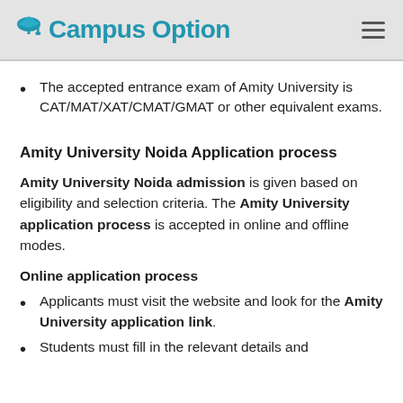Campus Option
The accepted entrance exam of Amity University is CAT/MAT/XAT/CMAT/GMAT or other equivalent exams.
Amity University Noida Application process
Amity University Noida admission is given based on eligibility and selection criteria. The Amity University application process is accepted in online and offline modes.
Online application process
Applicants must visit the website and look for the Amity University application link.
Students must fill in the relevant details and